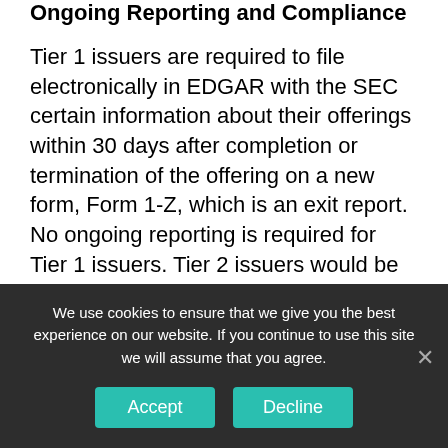Ongoing Reporting and Compliance
Tier 1 issuers are required to file electronically in EDGAR with the SEC certain information about their offerings within 30 days after completion or termination of the offering on a new form, Form 1-Z, which is an exit report. No ongoing reporting is required for Tier 1 issuers. Tier 2 issuers would be required to file annual, semiannual and current reports with the SEC via EDGAR until the company becomes a reporting company or, subject to certain exceptions, until there are fewer than 300 holders of record of the securities of the
We use cookies to ensure that we give you the best experience on our website. If you continue to use this site we will assume that you agree.